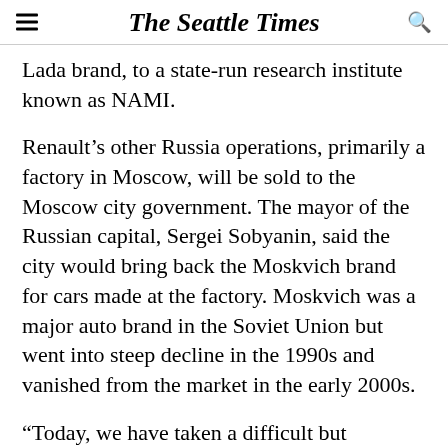The Seattle Times
Lada brand, to a state-run research institute known as NAMI.
Renault’s other Russia operations, primarily a factory in Moscow, will be sold to the Moscow city government. The mayor of the Russian capital, Sergei Sobyanin, said the city would bring back the Moskvich brand for cars made at the factory. Moskvich was a major auto brand in the Soviet Union but went into steep decline in the 1990s and vanished from the market in the early 2000s.
“Today, we have taken a difficult but necessary decision,” Renault CEO Luca de Meo said in a statement, “and we are making a responsible choice towards our 45,000 employees in Russia, while preserving the Group’s performance and our ability…